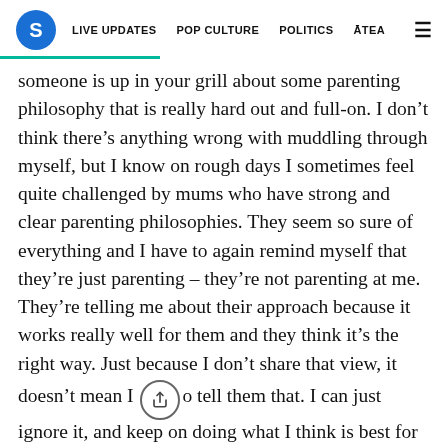S  LIVE UPDATES  POP CULTURE  POLITICS  ĀTEA  ≡
someone is up in your grill about some parenting philosophy that is really hard out and full-on. I don't think there's anything wrong with muddling through myself, but I know on rough days I sometimes feel quite challenged by mums who have strong and clear parenting philosophies. They seem so sure of everything and I have to again remind myself that they're just parenting – they're not parenting at me. They're telling me about their approach because it works really well for them and they think it's the right way. Just because I don't share that view, it doesn't mean I need to tell them that. I can just ignore it, and keep on doing what I think is best for my kids.